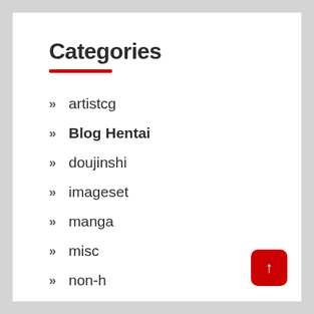Categories
artistcg
Blog Hentai
doujinshi
imageset
manga
misc
non-h
western